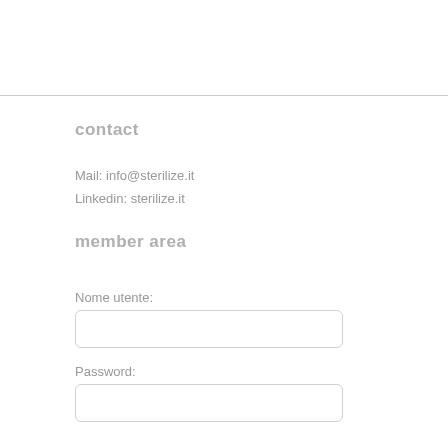contact
Mail: info@sterilize.it
Linkedin: sterilize.it
member area
Nome utente:
Password: